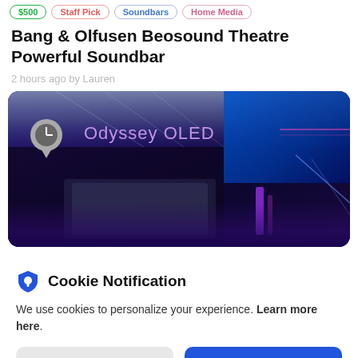$500 | Staff Pick | Soundbars | Home Media
Bang & Olfusen Beosound Theatre Powerful Soundbar
2 hours ago by Lauren
[Figure (photo): Dark blue/purple lit display booth showing 'Odyssey OLED' signage with a clock/pin icon overlay in the top left corner]
We use cookies to personalize your experience. Learn more here.